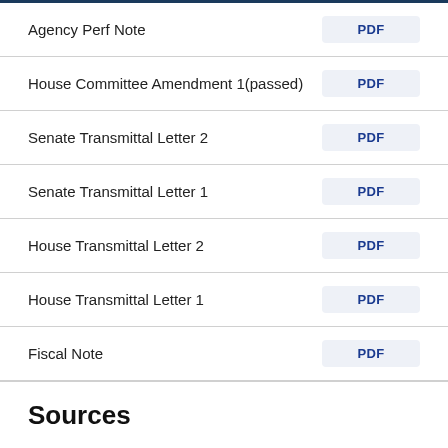Agency Perf Note
House Committee Amendment 1(passed)
Senate Transmittal Letter 2
Senate Transmittal Letter 1
House Transmittal Letter 2
House Transmittal Letter 1
Fiscal Note
Sources